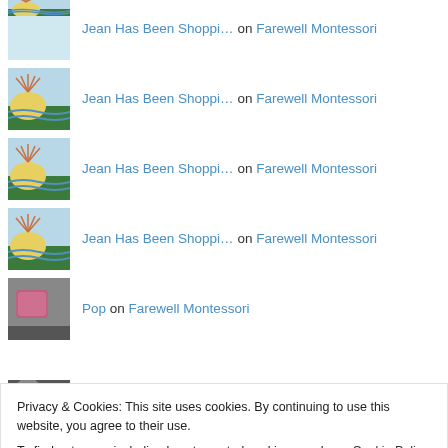Jean Has Been Shoppi… on Farewell Montessori
Jean Has Been Shoppi… on Farewell Montessori
Jean Has Been Shoppi… on Farewell Montessori
Jean Has Been Shoppi… on Farewell Montessori
Pop on Farewell Montessori
Privacy & Cookies: This site uses cookies. By continuing to use this website, you agree to their use.
To find out more, including how to control cookies, see here: Cookie Policy
Close and accept